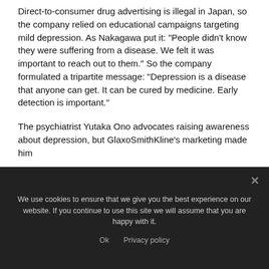Direct-to-consumer drug advertising is illegal in Japan, so the company relied on educational campaigns targeting mild depression. As Nakagawa put it: "People didn't know they were suffering from a disease. We felt it was important to reach out to them." So the company formulated a tripartite message: "Depression is a disease that anyone can get. It can be cured by medicine. Early detection is important."
The psychiatrist Yutaka Ono advocates raising awareness about depression, but GlaxoSmithKline's marketing made him
We use cookies to ensure that we give you the best experience on our website. If you continue to use this site we will assume that you are happy with it.